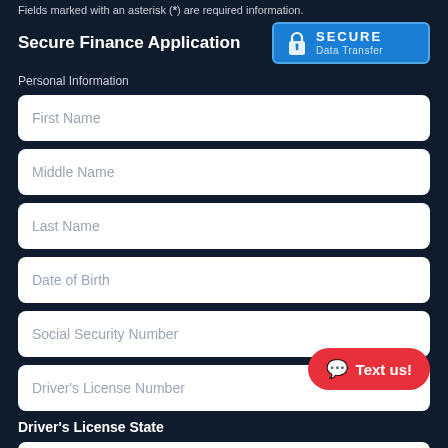Fields marked with an asterisk (*) are required information.
Secure Finance Application
[Figure (logo): Blue badge with lock icon and text 'SECURE Data Transfer']
Personal Information
First Name
Middle Name
Last Name
Date of Birth
Social Security Number
Driver's License Number
Driver's License State
Please Select
[Figure (other): Red rounded button with chat icon and text 'Text us!']